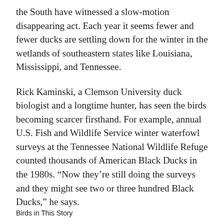the South have witnessed a slow-motion disappearing act. Each year it seems fewer and fewer ducks are settling down for the winter in the wetlands of southeastern states like Louisiana, Mississippi, and Tennessee.
Rick Kaminski, a Clemson University duck biologist and a longtime hunter, has seen the birds becoming scarcer firsthand. For example, annual U.S. Fish and Wildlife Service winter waterfowl surveys at the Tennessee National Wildlife Refuge counted thousands of American Black Ducks in the 1980s. “Now they’re still doing the surveys and they might see two or three hundred Black Ducks,” he says.
Birds in This Story